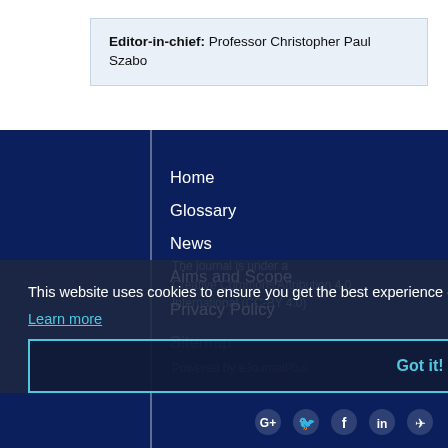Editor-in-chief: Professor Christopher Paul Szabo
Home
Glossary
News
Aims and Scope
Privacy Policy
Sitemap
This website uses cookies to ensure you get the best experience on our website
Learn more
The journal is under a Creative Commons Attribution 4.0 International (CC-BY 4.0)
Got it!
Powered by eJournalPlus